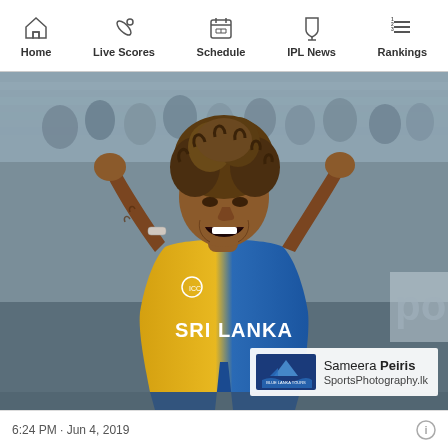Home | Live Scores | Schedule | IPL News | Rankings
[Figure (photo): Cricket player in Sri Lanka jersey celebrating with both fists raised and mouth open, wearing blue and yellow Sri Lanka World Cup kit, stadium crowd in background. Photo credit: Sameera Peiris, SportsPhotography.lk / Blue Lanka Tours]
6:24 PM · Jun 4, 2019